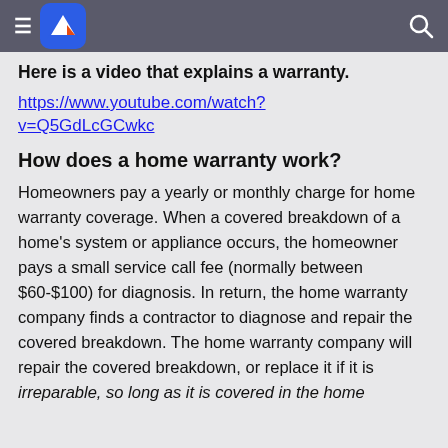Here is a video that explains a warranty.
https://www.youtube.com/watch?v=Q5GdLcGCwkc
How does a home warranty work?
Homeowners pay a yearly or monthly charge for home warranty coverage. When a covered breakdown of a home's system or appliance occurs, the homeowner pays a small service call fee (normally between $60-$100) for diagnosis. In return, the home warranty company finds a contractor to diagnose and repair the covered breakdown. The home warranty company will repair the covered breakdown, or replace it if it is irreparable, so long as it is covered in the home